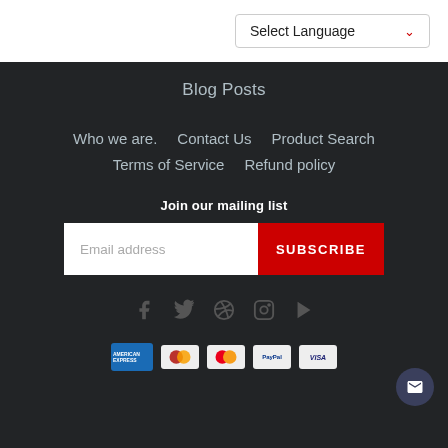Select Language
Blog Posts
Who we are.
Contact Us
Product Search
Terms of Service
Refund policy
Join our mailing list
Email address
SUBSCRIBE
[Figure (other): Social media icons: Facebook, Twitter, Pinterest, Instagram, YouTube]
[Figure (other): Payment icons: American Express, Maestro, Mastercard, PayPal, Visa]